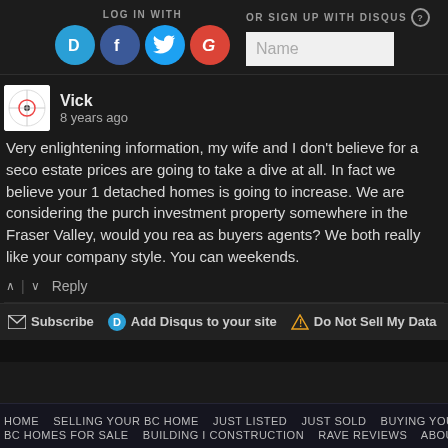[Figure (screenshot): Disqus login bar with LOG IN WITH label and social icons (Disqus D, Facebook f, Twitter bird, Google G) and OR SIGN UP WITH DISQUS with Name input field]
Vick
8 years ago
Very enlightening information, my wife and I don't believe for a second real estate prices are going to take a dive at all. In fact we believe your 1 detached homes is going to increase. We are considering the purchase of investment property somewhere in the Fraser Valley, would you really act as buyers agents? We both really like your company style. You can weekends.
^ | v   Reply
Subscribe   Add Disqus to your site   Do Not Sell My Data
HOME   SELLING YOUR BC HOME   JUST LISTED   JUST SOLD   BUYING YOUR BC BC HOMES FOR SALE   BUILDING I CONSTRUCTION   RAVE REVIEWS   ABOUT